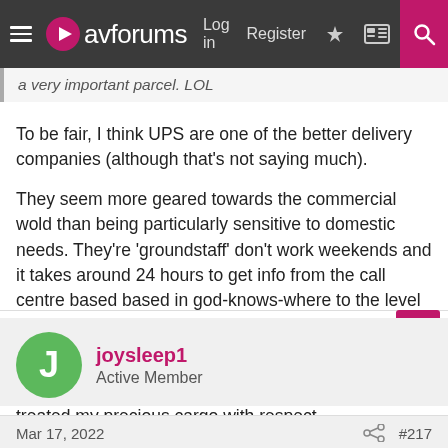avforums — Log in | Register
a very important parcel. LOL
To be fair, I think UPS are one of the better delivery companies (although that's not saying much).

They seem more geared towards the commercial wold than being particularly sensitive to domestic needs. They're 'groundstaff' don't work weekends and it takes around 24 hours to get info from the call centre based based in god-knows-where to the level of the depot.

On the plus side is that they don't sub out the delivery work and their loaders and drivers have always treated my precious cargo with respect.
joysleep1
Active Member
Mar 17, 2022  #217